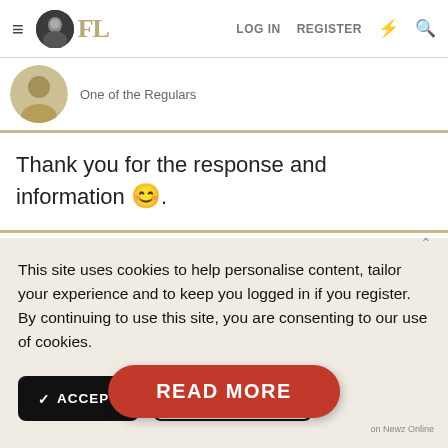FL  LOG IN  REGISTER
One of the Regulars
Thank you for the response and information 🙂.
This site uses cookies to help personalise content, tailor your experience and to keep you logged in if you register. By continuing to use this site, you are consenting to our use of cookies.
✓ ACCEPT   LEARN MORE...
Thank you for the response and information 🙂
[Figure (other): READ MORE button - red pill-shaped button with white text, labeled 'on Newz Online']